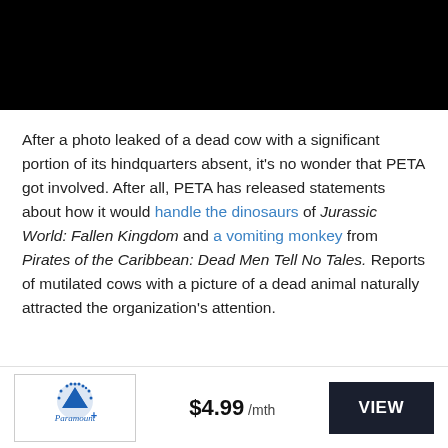[Figure (photo): Black rectangle at the top of the page representing a blacked-out image area]
After a photo leaked of a dead cow with a significant portion of its hindquarters absent, it's no wonder that PETA got involved. After all, PETA has released statements about how it would handle the dinosaurs of Jurassic World: Fallen Kingdom and a vomiting monkey from Pirates of the Caribbean: Dead Men Tell No Tales. Reports of mutilated cows with a picture of a dead animal naturally attracted the organization's attention.
[Figure (logo): Paramount+ logo in a bordered box]
$4.99 /mth
VIEW